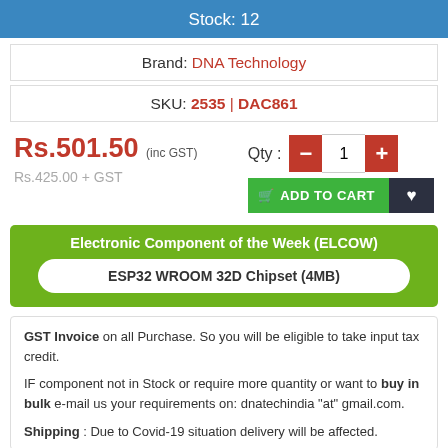Stock: 12
Brand: DNA Technology
SKU: 2535 | DAC861
Rs.501.50 (inc GST)
Rs.425.00 + GST
Qty : - 1 +
ADD TO CART
Electronic Component of the Week (ELCOW)
ESP32 WROOM 32D Chipset (4MB)
GST Invoice on all Purchase. So you will be eligible to take input tax credit.
IF component not in Stock or require more quantity or want to buy in bulk e-mail us your requirements on: dnatechindia "at" gmail.com.
Shipping : Due to Covid-19 situation delivery will be affected.